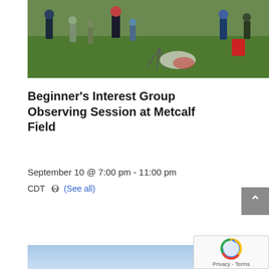[Figure (photo): Outdoor group of people standing on a grass field, some using binoculars or telescopes, with folding chairs visible in the background.]
Beginner’s Interest Group Observing Session at Metcalf Field
September 10 @ 7:00 pm - 11:00 pm
CDT ↺ (See all)
[Figure (map): Blue sky / map placeholder at the bottom of the page.]